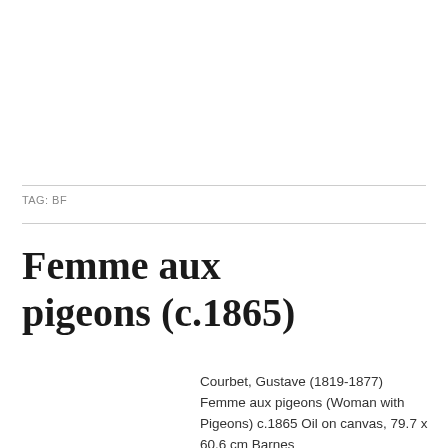TAG: BF
Femme aux pigeons (c.1865)
Courbet, Gustave (1819-1877) Femme aux pigeons (Woman with Pigeons) c.1865 Oil on canvas, 79.7 x 60.6 cm Barnes Foundation, Philadelphia